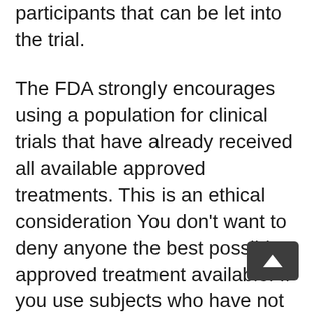participants that can be let into the trial.
The FDA strongly encourages using a population for clinical trials that have already received all available approved treatments. This is an ethical consideration You don't want to deny anyone the best possible approved treatment available. If you use subjects who have not had all treatments those who are receiving a placebo in the trial are really being denied treatment